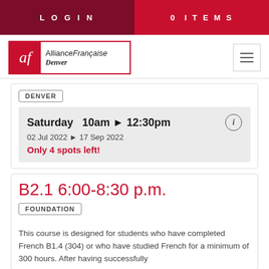LOGIN   0 ITEMS
[Figure (logo): Alliance Française Denver logo with red af badge and bordered text]
DENVER
Saturday  10am ▶ 12:30pm
02 Jul 2022 ▶ 17 Sep 2022
Only 4 spots left!
B2.1 6:00-8:30 p.m.
FOUNDATION
This course is designed for students who have completed French B1.4 (304) or who have studied French for a minimum of 300 hours. After having successfully